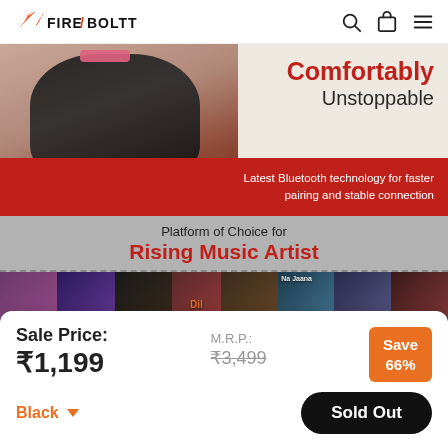Fire-Boltt
[Figure (photo): Fire-Boltt hero banner showing a woman in sportswear with text 'Comfortably Unstoppable – Latest Bluetooth technology for faster pairing and stable connection']
Platform of Choice for Rising Music Artist
[Figure (photo): A horizontal strip of music album cover thumbnails]
Sale Price: ₹1,199
M.R.P.: ₹3,499
Save 66%
Black
Sold Out